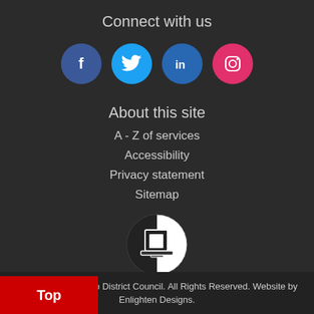Connect with us
[Figure (illustration): Four social media icons in circles: Facebook (dark blue), Twitter (light blue), LinkedIn (blue), Instagram (pink/red)]
About this site
A - Z of services
Accessibility
Privacy statement
Sitemap
[Figure (logo): Enlighten Designs logo: a circular black and white icon showing a monitor/screen graphic]
Copyright © Waikato District Council. All Rights Reserved. Website by Enlighten Designs.
Top